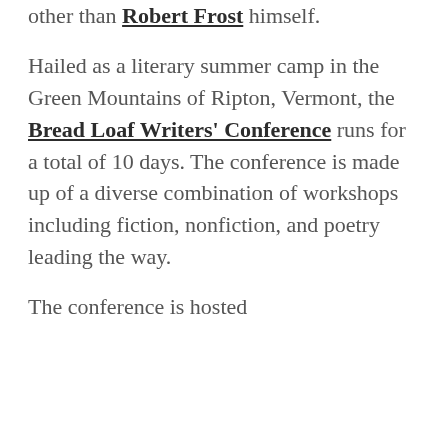other than Robert Frost himself.

Hailed as a literary summer camp in the Green Mountains of Ripton, Vermont, the Bread Loaf Writers' Conference runs for a total of 10 days. The conference is made up of a diverse combination of workshops including fiction, nonfiction, and poetry leading the way.

The conference is hosted